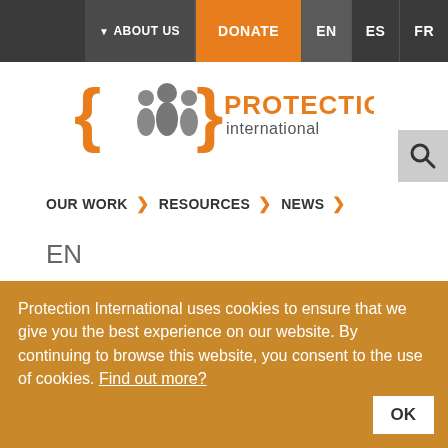ABOUT US | DONATE | EN | ES | FR
[Figure (logo): Protection International logo with orange curly braces and grey people figures, orange and dark text reading PROTECTION international]
OUR WORK > RESOURCES > NEWS >
EN
Protection International uses cookies to ensure that we give you the best experience on our website. By continuing to browse this website, you consent to the use of cookies. Find out more?